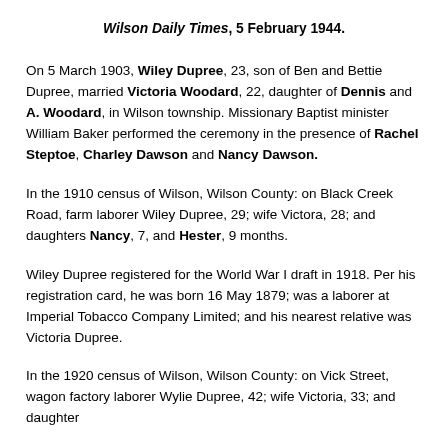Wilson Daily Times, 5 February 1944.
On 5 March 1903, Wiley Dupree, 23, son of Ben and Bettie Dupree, married Victoria Woodard, 22, daughter of Dennis and A. Woodard, in Wilson township. Missionary Baptist minister William Baker performed the ceremony in the presence of Rachel Steptoe, Charley Dawson and Nancy Dawson.
In the 1910 census of Wilson, Wilson County: on Black Creek Road, farm laborer Wiley Dupree, 29; wife Victora, 28; and daughters Nancy, 7, and Hester, 9 months.
Wiley Dupree registered for the World War I draft in 1918. Per his registration card, he was born 16 May 1879; was a laborer at Imperial Tobacco Company Limited; and his nearest relative was Victoria Dupree.
In the 1920 census of Wilson, Wilson County: on Vick Street, wagon factory laborer Wylie Dupree, 42; wife Victoria, 33; and daughter